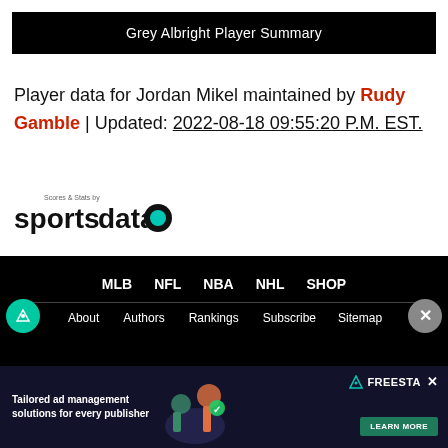Grey Albright Player Summary
Player data for Jordan Mikel maintained by Rudy Gamble | Updated: 2022-08-18 09:55:20 P.M. EST.
[Figure (logo): Scores & Stats by sportsdata.io logo with teal circular badge]
MLB  NFL  NBA  NHL  SHOP  About  Authors  Rankings  Subscribe  Sitemap
[Figure (screenshot): Advertisement banner: Tailored ad management solutions for every publisher - FREESTAR - LEARN MORE]